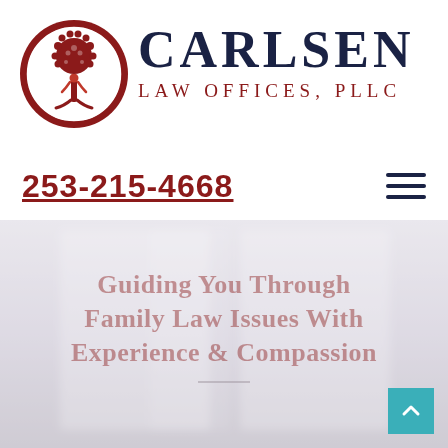[Figure (logo): Carlsen Law Offices PLLC logo: circular dark red emblem with a stylized tree (branches with leaf dots and red human figure at trunk) on white background]
CARLSEN
LAW OFFICES, PLLC
253-215-4668
[Figure (other): Hamburger menu icon (three horizontal dark navy lines)]
[Figure (photo): Blurred light grey/white background hero image (appears to be an interior or abstract light scene)]
Guiding You Through Family Law Issues With Experience & Compassion
[Figure (other): Teal/cyan back-to-top button with white upward chevron arrow in bottom-right corner]